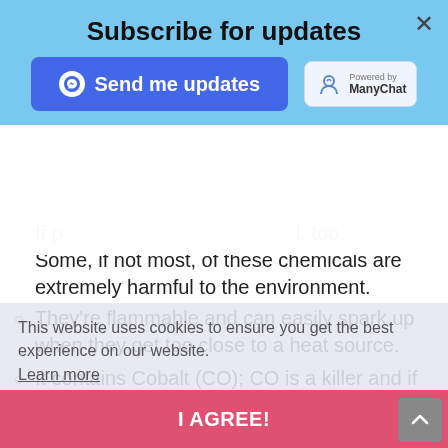[Figure (screenshot): Subscribe for updates modal with blue background and Messenger send button, overlaid on article content]
If p... ...l, too. Some, if not most, of these chemicals are extremely harmful to the environment.
They're flammable and can easily spark up when they get too close to a heat source.
It contains Cobalt (CO); CO is a killer and if burnt, it can be drastically dangerous to our health.
These are just some of the worst things that plastic can give both to our generation and to our home. However, some people don't think of this because plastic has a too few advantages which can be efficient for our everyday lives.
This website uses cookies to ensure you get the best experience on our website. Learn more
I AGREE!